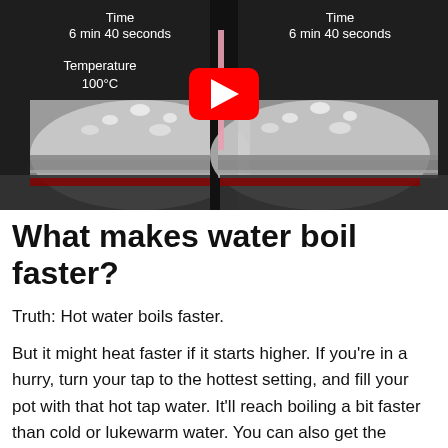[Figure (screenshot): YouTube video thumbnail showing two pots of boiling water side by side, both labeled 'Time 6 min 40 seconds'. Left pot shows 'Temperature 100°C'. A red YouTube play button is overlaid in the center.]
What makes water boil faster?
Truth: Hot water boils faster.
But it might heat faster if it starts higher. If you're in a hurry, turn your tap to the hottest setting, and fill your pot with that hot tap water. It'll reach boiling a bit faster than cold or lukewarm water. You can also get the